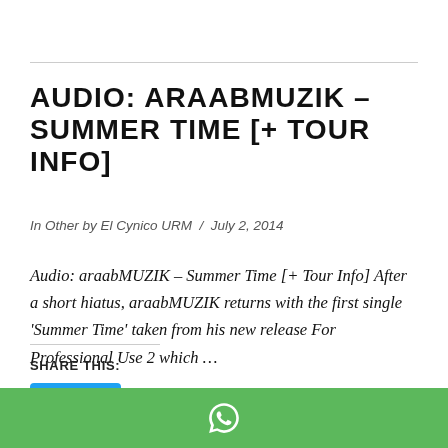AUDIO: ARAABMUZIK – SUMMER TIME [+ TOUR INFO]
In Other by El Cynico URM / July 2, 2014
Audio: araabMUZIK – Summer Time [+ Tour Info] After a short hiatus, araabMUZIK returns with the first single 'Summer Time' taken from his new release For Professional Use 2 which …
SHARE THIS:
[Figure (other): Tweet button with Twitter bird icon]
[Figure (other): WhatsApp icon on green footer bar]